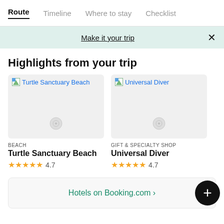Route | Timeline | Where to stay | Checklist
Make it your trip
Highlights from your trip
[Figure (screenshot): Card image placeholder for Turtle Sanctuary Beach]
BEACH
Turtle Sanctuary Beach
★★★★★ 4.7
[Figure (screenshot): Card image placeholder for Universal Diver]
GIFT & SPECIALTY SHOP
Universal Diver
★★★★★ 4.7
Hotels on Booking.com ›